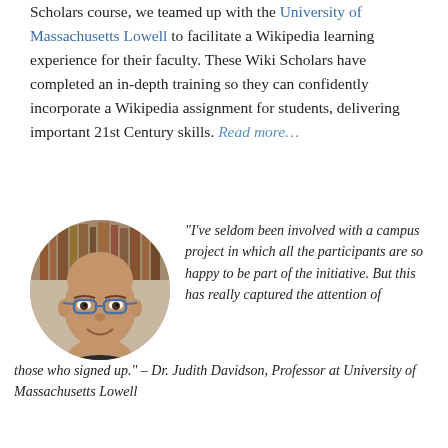Scholars course, we teamed up with the University of Massachusetts Lowell to facilitate a Wikipedia learning experience for their faculty. These Wiki Scholars have completed an in-depth training so they can confidently incorporate a Wikipedia assignment for students, delivering important 21st Century skills. Read more…
[Figure (photo): Circular portrait photo of Dr. Judith Davidson, a woman with short hair and glasses, smiling, with bookshelves in the background.]
"I've seldom been involved with a campus project in which all the participants are so happy to be part of the initiative. But this has really captured the attention of those who signed up." – Dr. Judith Davidson, Professor at University of Massachusetts Lowell